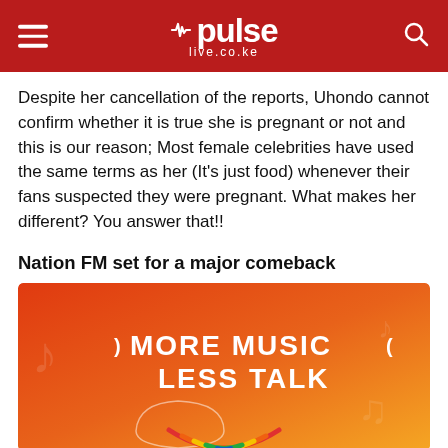pulse live.co.ke
Despite her cancellation of the reports, Uhondo cannot confirm whether it is true she is pregnant or not and this is our reason; Most female celebrities have used the same terms as her (It's just food) whenever their fans suspected they were pregnant. What makes her different? You answer that!!
Nation FM set for a major comeback
[Figure (illustration): Orange gradient background with text 'MORE MUSIC LESS TALK' in white, with a headphone shield logo and colorful arcs at the bottom, representing Nation FM branding.]